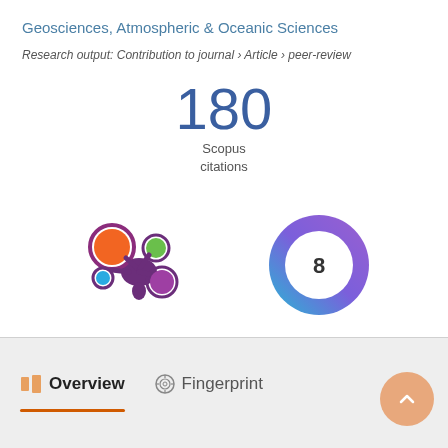Geosciences, Atmospheric & Oceanic Sciences
Research output: Contribution to journal › Article › peer-review
180
Scopus
citations
[Figure (logo): Altmetric logo - colorful asterisk-like shape with orange, green, blue, and purple circles]
[Figure (logo): Open Access badge - circular gradient badge with number 8 in the center]
Overview
Fingerprint